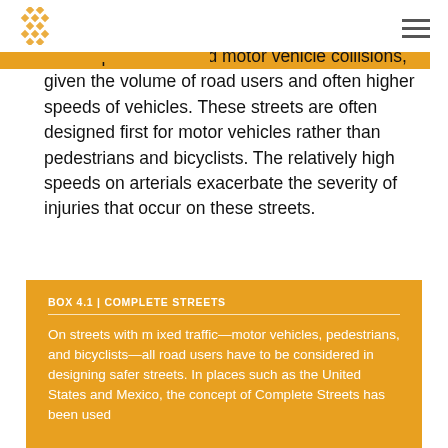[logo] [navigation menu icon]
severe pedestrian and motor vehicle collisions, given the volume of road users and often higher speeds of vehicles. These streets are often designed first for motor vehicles rather than pedestrians and bicyclists. The relatively high speeds on arterials exacerbate the severity of injuries that occur on these streets.
BOX 4.1 | COMPLETE STREETS
On streets with mixed traffic—motor vehicles, pedestrians, and bicyclists—all road users have to be considered in designing safer streets. In places such as the United States and Mexico, the concept of Complete Streets has been used